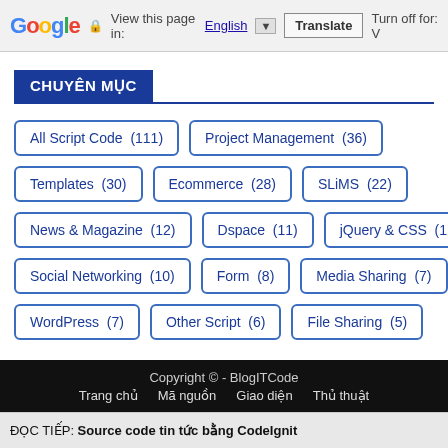Google | View this page in: English | Translate | Turn off for: V
CHUYÊN MỤC
All Script Code (111)
Project Management (36)
Templates (30)
Ecommerce (28)
SLiMS (22)
News & Magazine (12)
Dspace (11)
jQuery & CSS (11)
Social Networking (10)
Form (8)
Media Sharing (7)
WordPress (7)
Other Script (6)
File Sharing (5)
Copyright © - BlogITCode
Trang chủ   Mã nguồn   Giao diện   Thủ thuật
ĐỌC TIẾP: Source code tin tức bằng CodeIgnit